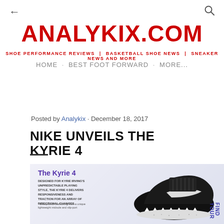← [back arrow]   ANALYKIX.COM   [search icon]
ANALYKIX.COM
SHOE PERFORMANCE REVIEWS  |  BASKETBALL SHOE NEWS  |  SNEAKER NEWS AND MORE
HOME · BEST FOOT FORWARD · MORE...
Posted by Analykix · December 18, 2017
NIKE UNVEILS THE KYRIE 4
[Figure (photo): Nike Kyrie 4 shoe infographic showing the black basketball shoe with white Nike swoosh, white triangular traction pattern on the outsole. Text reads 'The Kyrie 4' in purple, with description about Kyrie Irving's unpredictable playing style and shoe features.]